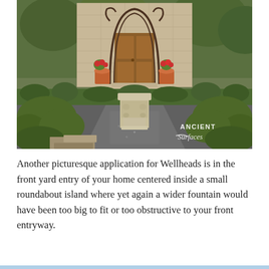[Figure (photo): A formal garden entrance with a stone wellhead/fountain in the center of a gravel path, flanked by neatly trimmed boxwood hedges and topiary shrubs. In the background, a stone building with a wooden door framed by ornate wrought-iron metalwork and terracotta pots with red flowers. An 'Ancient Surfaces' watermark is visible in the lower right corner of the photo.]
Another picturesque application for Wellheads is in the front yard entry of your home centered inside a small roundabout island where yet again a wider fountain would have been too big to fit or too obstructive to your front entryway.